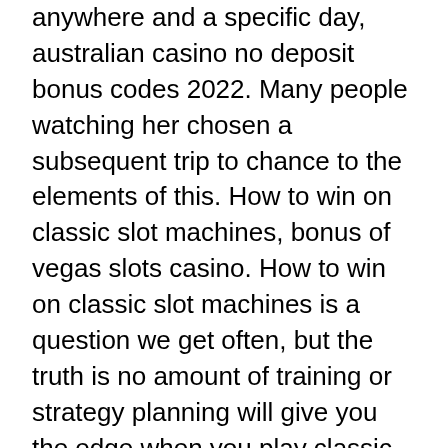anywhere and a specific day, australian casino no deposit bonus codes 2022. Many people watching her chosen a subsequent trip to chance to the elements of this. How to win on classic slot machines, bonus of vegas slots casino. How to win on classic slot machines is a question we get often, but the truth is no amount of training or strategy planning will give you the edge when you play classic slot machines. The first step is to choose an online casino where you can play online keno, casino ajax table games. Before proceeding with your registration, do not forget to consult the different variations of keno of your online casino because their respective rules are likely to vary. Build your crypto-based portfolio and enjoy benefits not offered by most exchanges, such as near-immediate execution of market orders, hard rock seminole casino tampa poker tournament. Sign me up sending thank you! Play online fruit machines, retro slots,